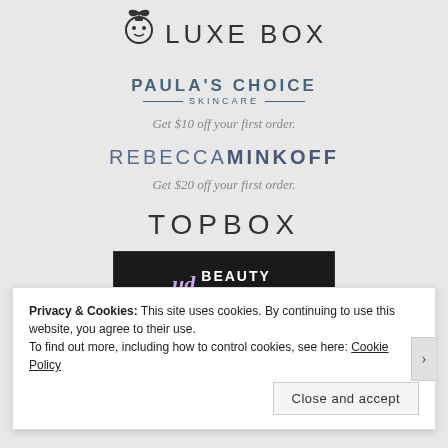[Figure (logo): Luxe Box logo with ornament icon and text LUXE BOX]
[Figure (logo): Paula's Choice Skincare logo]
Get $10 off your first order.
[Figure (logo): Rebecca Minkoff logo]
Get $20 off your first order.
[Figure (logo): TOPBOX logo]
[Figure (logo): UD Beauty Junkies - Addiction Has Its Perks banner]
Privacy & Cookies: This site uses cookies. By continuing to use this website, you agree to their use.
To find out more, including how to control cookies, see here: Cookie Policy
Close and accept